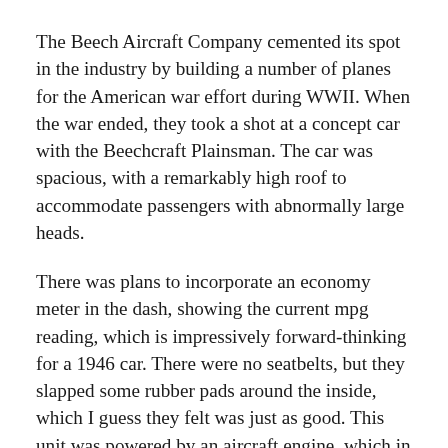The Beech Aircraft Company cemented its spot in the industry by building a number of planes for the American war effort during WWII. When the war ended, they took a shot at a concept car with the Beechcraft Plainsman. The car was spacious, with a remarkably high roof to accommodate passengers with abnormally large heads.
There was plans to incorporate an economy meter in the dash, showing the current mpg reading, which is impressively forward-thinking for a 1946 car. There were no seatbelts, but they slapped some rubber pads around the inside, which I guess they felt was just as good. This unit was powered by an aircraft engine, which in turn powered four electric motors, one for each wheel. Only two were built, but luckily